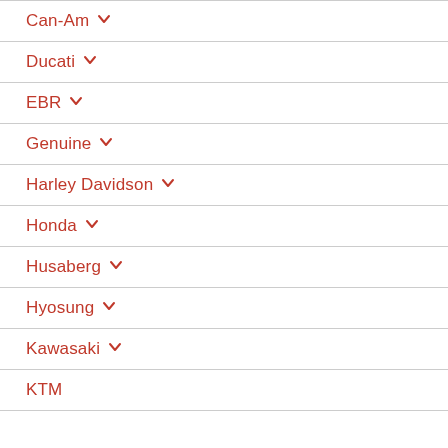Can-Am
Ducati
EBR
Genuine
Harley Davidson
Honda
Husaberg
Hyosung
Kawasaki
KTM